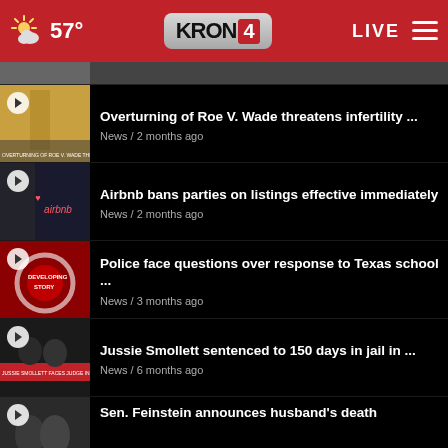57° KRON4 LIVE
Overturning of Roe V. Wade threatens infertility ... News / 2 months ago
Airbnb bans parties on listings effective immediately News / 2 months ago
Police face questions over response to Texas school ... News / 3 months ago
Jussie Smollett sentenced to 150 days in jail in ... News / 6 months ago
Sen. Feinstein announces husband's death